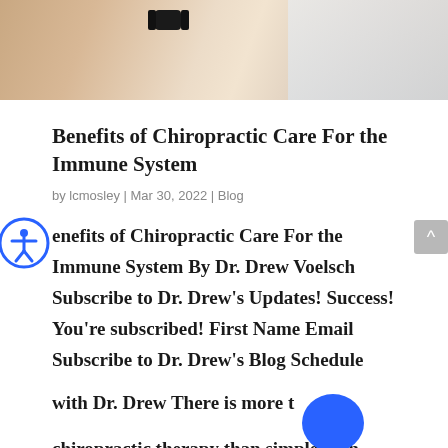[Figure (photo): Partial photo of a person's arm with a black watch, wearing a light blue shirt, cropped at top of page]
Benefits of Chiropractic Care For the Immune System
by lcmosley | Mar 30, 2022 | Blog
Benefits of Chiropractic Care For the Immune System By Dr. Drew Voelsch Subscribe to Dr. Drew's Updates! Success! You're subscribed! First Name Email Subscribe to Dr. Drew's Blog Schedule with Dr. Drew There is more to chiropractic therapy than simple pain...